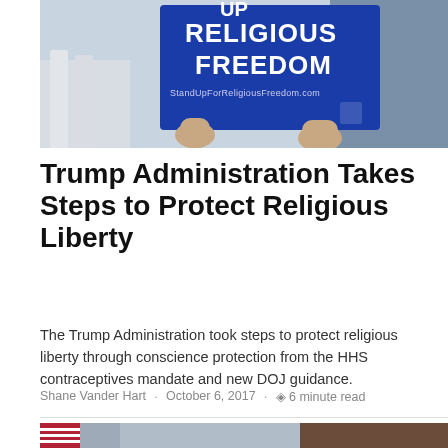[Figure (photo): Person holding a blue sign reading 'Stand Up For Religious Freedom' with 'StandUpForReligiousFreedom.com' printed on it, in front of what appears to be a government building with columns.]
Trump Administration Takes Steps to Protect Religious Liberty
The Trump Administration took steps to protect religious liberty through conscience protection from the HHS contraceptives mandate and new DOJ guidance.
Shane Vander Hart · October 6, 2017 · 6 minute read
[Figure (photo): Partial view of a formal room with American flag, with a 'Politics' badge overlay in the top right corner.]